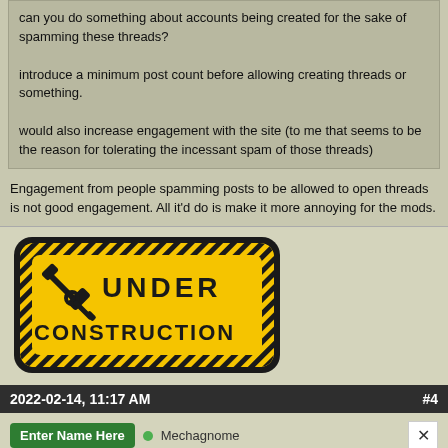can you do something about accounts being created for the sake of spamming these threads?

introduce a minimum post count before allowing creating threads or something.

would also increase engagement with the site (to me that seems to be the reason for tolerating the incessant spam of those threads)
Engagement from people spamming posts to be allowed to open threads is not good engagement. All it'd do is make it more annoying for the mods.
[Figure (illustration): Yellow and black 'Under Construction' sign with hammer and wrench icons]
2022-02-14, 11:17 AM
#4
Enter Name Here
Mechagnome
Originally Posted by Temp name